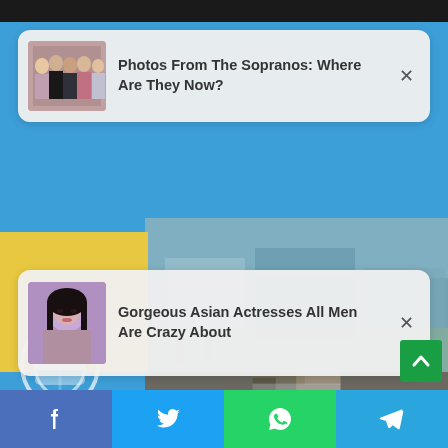[Figure (screenshot): Web page screenshot showing two sponsored/recommended article notification cards overlaid on a blue background with yellow block and blurred building photos, and a bottom social sharing bar with Facebook, Twitter, WhatsApp, and Telegram buttons.]
Photos From The Sopranos: Where Are They Now?
Gorgeous Asian Actresses All Men Are Crazy About